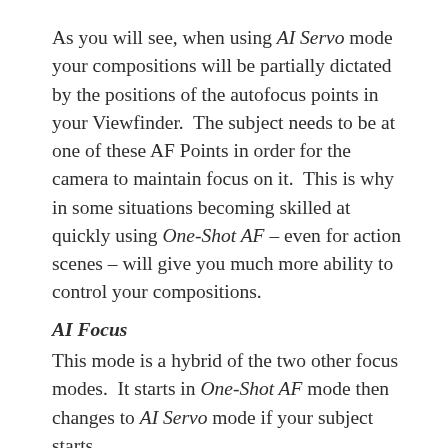As you will see, when using AI Servo mode your compositions will be partially dictated by the positions of the autofocus points in your Viewfinder.  The subject needs to be at one of these AF Points in order for the camera to maintain focus on it.  This is why in some situations becoming skilled at quickly using One-Shot AF – even for action scenes – will give you much more ability to control your compositions.
AI Focus
This mode is a hybrid of the two other focus modes.  It starts in One-Shot AF mode then changes to AI Servo mode if your subject starts